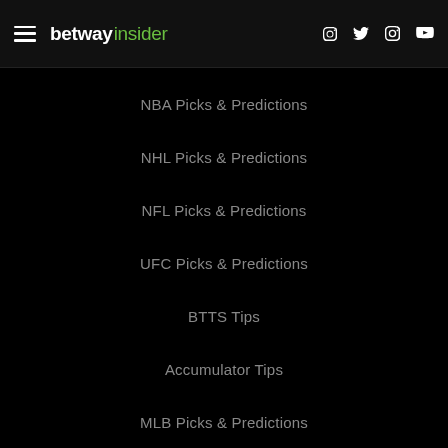betway insider — navigation menu
NBA Picks & Predictions
NHL Picks & Predictions
NFL Picks & Predictions
UFC Picks & Predictions
BTTS Tips
Accumulator Tips
MLB Picks & Predictions
NFL Odds
NHL Odds